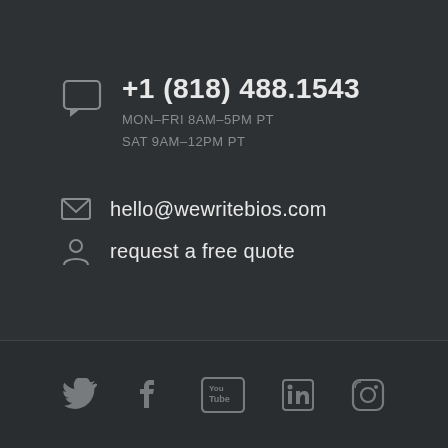+1 (818) 488.1543
MON–FRI 8AM–5PM PT
SAT 9AM–12PM PT
hello@wewritebios.com
request a free quote
[Figure (other): Social media icons row: Twitter, Facebook, YouTube, LinkedIn, Instagram]